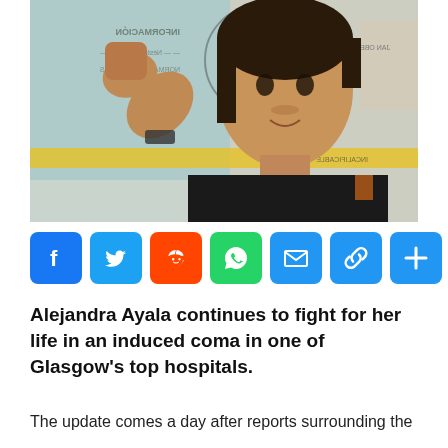[Figure (photo): A woman flexing her arm/bicep and smiling at the camera, wearing a black shirt, in front of a gym background with a logo and certificates. The image appears to be a mirror selfie.]
[Figure (infographic): Social media share buttons row: Facebook (blue), Twitter (blue), Reddit (orange-red), WhatsApp (green), Email (blue), Link/chain (blue), Plus/more (blue)]
Alejandra Ayala continues to fight for her life in an induced coma in one of Glasgow's top hospitals.
The update comes a day after reports surrounding the